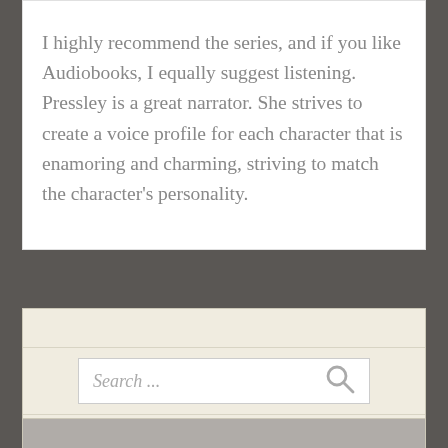I highly recommend the series, and if you like Audiobooks, I equally suggest listening. Pressley is a great narrator. She strives to create a voice profile for each character that is enamoring and charming, striving to match the character's personality.
[Figure (screenshot): Search widget with placeholder text 'Search ...' and a magnifying glass icon on the right]